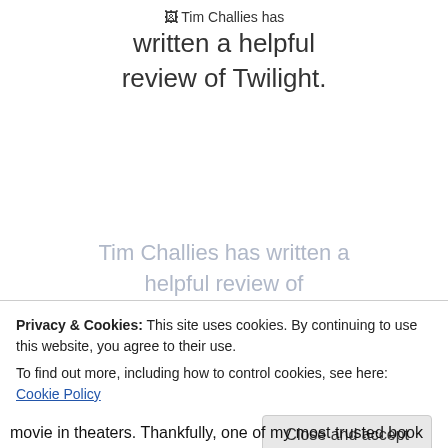Tim Challies has written a helpful review of Twilight.
Tim Challies has written a helpful review of
Privacy & Cookies: This site uses cookies. By continuing to use this website, you agree to their use. To find out more, including how to control cookies, see here: Cookie Policy
Close and accept
movie in theaters. Thankfully, one of my most trusted book